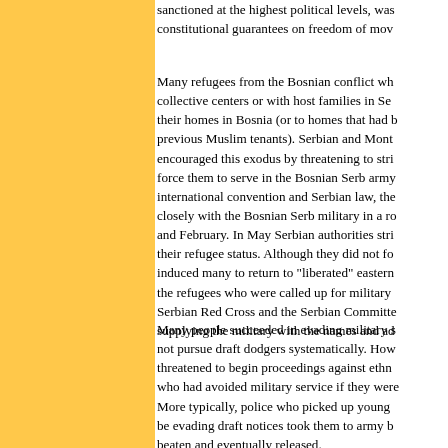sanctioned at the highest political levels, was constitutional guarantees on freedom of mov...
Many refugees from the Bosnian conflict wh... collective centers or with host families in Se... their homes in Bosnia (or to homes that had b... previous Muslim tenants). Serbian and Mont... encouraged this exodus by threatening to stri... force them to serve in the Bosnian Serb army... international convention and Serbian law, the... closely with the Bosnian Serb military in a r... and February. In May Serbian authorities str... their refugee status. Although they did not fo... induced many to return to "liberated" eastern ... the refugees who were called up for military ... Serbian Red Cross and the Serbian Committe... supplying the military with the names and ad...
Many people succeeded in evading military s... not pursue draft dodgers systematically. How... threatened to begin proceedings against ethn... who had avoided military service if they wer... More typically, police who picked up young ... be evading draft notices took them to army b... beaten and eventually released.